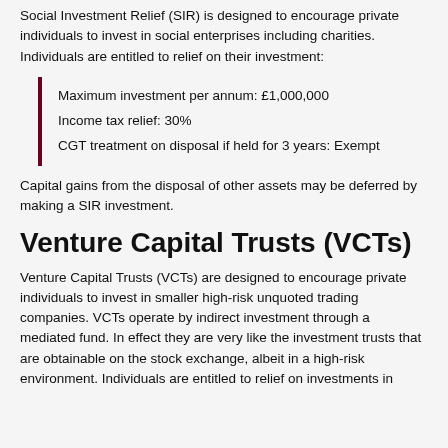Social Investment Relief (SIR) is designed to encourage private individuals to invest in social enterprises including charities. Individuals are entitled to relief on their investment:
Maximum investment per annum: £1,000,000
Income tax relief: 30%
CGT treatment on disposal if held for 3 years: Exempt
Capital gains from the disposal of other assets may be deferred by making a SIR investment.
Venture Capital Trusts (VCTs)
Venture Capital Trusts (VCTs) are designed to encourage private individuals to invest in smaller high-risk unquoted trading companies. VCTs operate by indirect investment through a mediated fund. In effect they are very like the investment trusts that are obtainable on the stock exchange, albeit in a high-risk environment. Individuals are entitled to relief on investments in